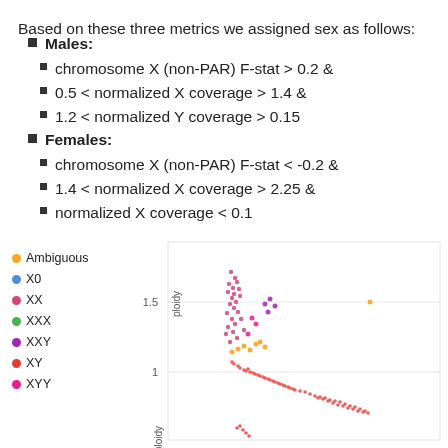Based on these three metrics we assigned sex as follows:
Males:
chromosome X (non-PAR) F-stat > 0.2 &
0.5 < normalized X coverage > 1.4 &
1.2 < normalized Y coverage > 0.15
Females:
chromosome X (non-PAR) F-stat < -0.2 &
1.4 < normalized X coverage > 2.25 &
normalized X coverage < 0.1
[Figure (scatter-plot): Scatter plot showing sex chromosome ploidy vs F-stat with legend for Ambiguous, X0, XX, XXX, XXY, XY, XYY categories. Y-axis shows values around 1 and 1.5. Points colored by category: pink/magenta cluster around x=0, 1.5 ploidy (XX), red dots diagonal (XY), orange and purple scattered.]